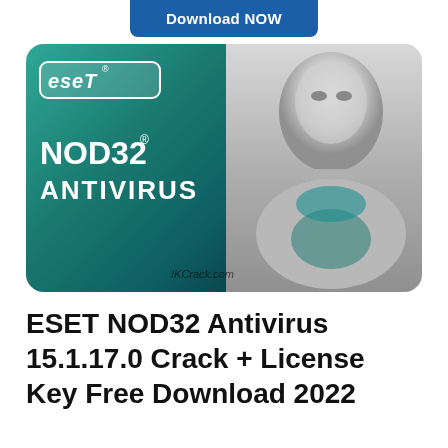Download NOW
[Figure (illustration): ESET NOD32 Antivirus product card with teal gradient background, ESET logo top-left, NOD32 ANTIVIRUS text in white, robot/android figure on the right side, and IKCrack.com watermark at the bottom]
ESET NOD32 Antivirus 15.1.17.0 Crack + License Key Free Download 2022